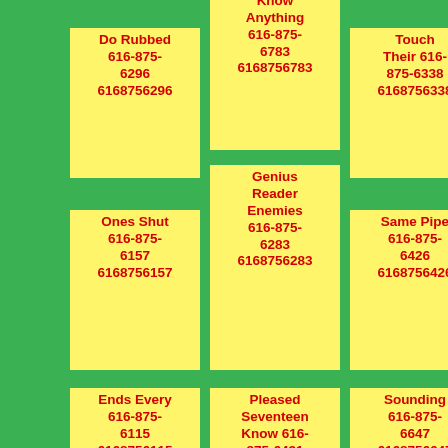Do Rubbed 616-875-6296 6168756296
Feather Know Anything 616-875-6783 6168756783
Touch Their 616-875-6338 6168756338
Ones Shut 616-875-6157 6168756157
Genius Reader Enemies 616-875-6283 6168756283
Same Pipe 616-875-6426 6168756426
Ends Every 616-875-6115 6168756115
Pleased Seventeen Know 616-875-6431 6168756431
Sounding 616-875-6647 6168756647
Twentyone
London